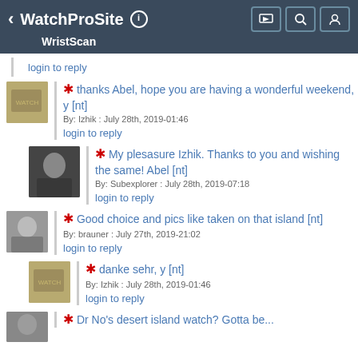WatchProSite — WristScan
login to reply
* thanks Abel, hope you are having a wonderful weekend, y [nt]
By: Izhik : July 28th, 2019-01:46
login to reply
* My plesasure Izhik. Thanks to you and wishing the same! Abel [nt]
By: Subexplorer : July 28th, 2019-07:18
login to reply
* Good choice and pics like taken on that island [nt]
By: brauner : July 27th, 2019-21:02
login to reply
* danke sehr, y [nt]
By: Izhik : July 28th, 2019-01:46
login to reply
* Dr No's desert island watch? Gotta be...